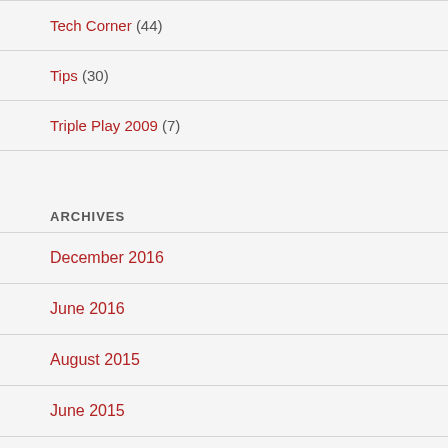Tech Corner (44)
Tips (30)
Triple Play 2009 (7)
ARCHIVES
December 2016
June 2016
August 2015
June 2015